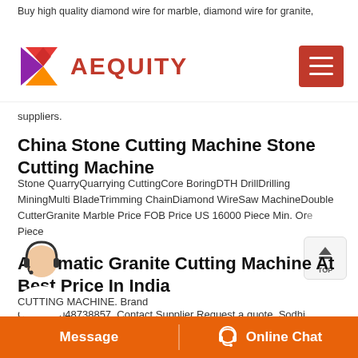Buy high quality diamond wire for marble, diamond wire for granite,
[Figure (logo): AEQUITY logo with colorful diamond/arrow icon on the left and red text 'AEQUITY' on the right, plus a red hamburger menu button on the far right]
suppliers.
China Stone Cutting Machine Stone Cutting Machine
Stone QuarryQuarrying CuttingCore BoringDTH DrillDrilling MiningMulti BladeTrimming ChainDiamond WireSaw MachineDouble CutterGranite Marble Price FOB Price US 16000 Piece Min. Or Piece
Automatic Granite Cutting Machine At Best Price In India
Call 91-8048738857. Contact Supplier Request a quote. Sodhi Engineering Industries Granite Multi Cutter Machine B10,... 25 Lakh.
CUTTING MACHINE. Brand